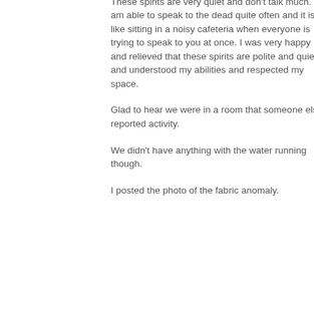tug on the bedding by my legs. No one was visibly there. Also smelled a sweet vanilla lavender perfume and then immediately it was gone.
I will say, I had the best sleep here and did not feel threatened in any way. I haven't slept that well in a long time and it is an unusual thing for me to sleep well in an unknown place especially one with paranormal activity.
These spirits are very quiet and don't talk much. I am able to speak to the dead quite often and it is like sitting in a noisy cafeteria when everyone is trying to speak to you at once. I was very happy and relieved that these spirits are polite and quiet and understood my abilities and respected my space.
Glad to hear we were in a room that someone else reported activity.
We didn't have anything with the water running though.
I posted the photo of the fabric anomaly.